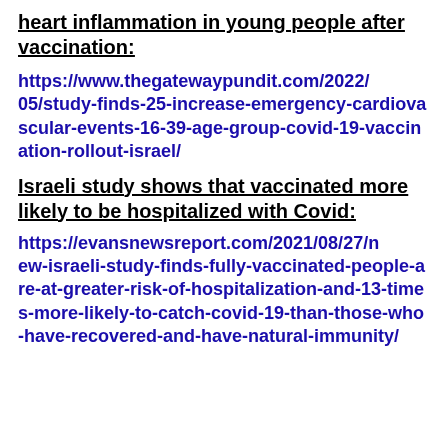heart inflammation in young people after vaccination:
https://www.thegatewaypundit.com/2022/05/study-finds-25-increase-emergency-cardiovascular-events-16-39-age-group-covid-19-vaccination-rollout-israel/
Israeli study shows that vaccinated more likely to be hospitalized with Covid:
https://evansnewsreport.com/2021/08/27/new-israeli-study-finds-fully-vaccinated-people-are-at-greater-risk-of-hospitalization-and-13-times-more-likely-to-catch-covid-19-than-those-who-have-recovered-and-have-natural-immunity/